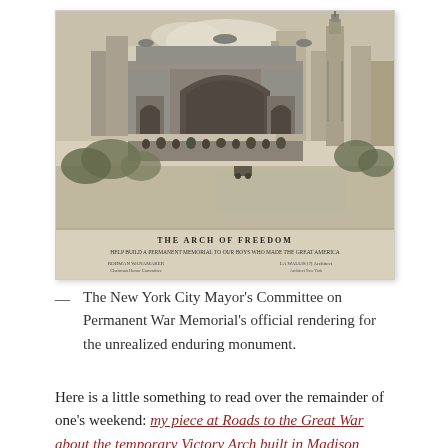[Figure (illustration): Black and white etching/engraving of 'The Arch of Freedom' — a large triumphal arch in a city square with crowds and buildings including a tall tower in the background. Text at the bottom reads: THE ARCH OF FREEDOM / HELP BUILD A PERMANENT MEMORIAL TO OUR BOYS WHO MADE THE GREAT AMERICA / RODMAN WANAMAKER, Chairman Honer Committee / LA WALLIS [?] Architect / [additional small text]]
— The New York City Mayor's Committee on Permanent War Memorial's official rendering for the unrealized enduring monument.
Here is a little something to read over the remainder of one's weekend: my piece at Roads to the Great War about the temporary Victory Arch built in Madison